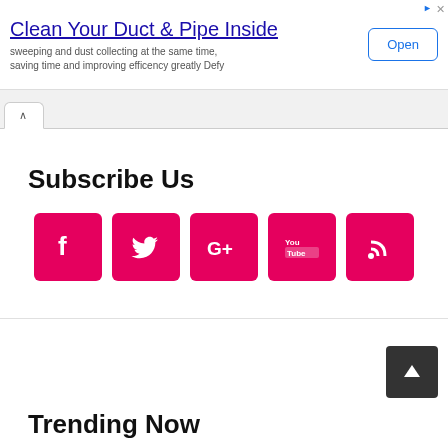[Figure (screenshot): Advertisement banner: 'Clean Your Duct & Pipe Inside' with subtext and an Open button]
Subscribe Us
[Figure (infographic): Row of 5 social media icon buttons (Facebook, Twitter, Google+, YouTube, RSS) in pink/magenta rounded squares]
Trending Now